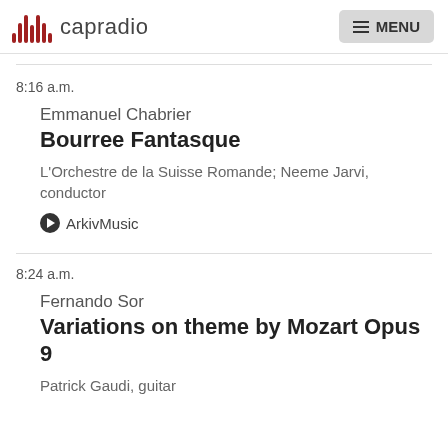capradio  MENU
8:16 a.m.
Emmanuel Chabrier
Bourree Fantasque
L'Orchestre de la Suisse Romande; Neeme Jarvi, conductor
ArkivMusic
8:24 a.m.
Fernando Sor
Variations on theme by Mozart Opus 9
Patrick Gaudi, guitar